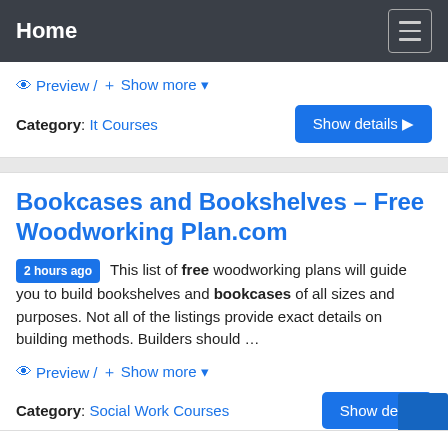Home
Preview / + Show more
Category: It Courses
Bookcases and Bookshelves – Free Woodworking Plan.com
2 hours ago This list of free woodworking plans will guide you to build bookshelves and bookcases of all sizes and purposes. Not all of the listings provide exact details on building methods. Builders should ...
Preview / + Show more
Category: Social Work Courses